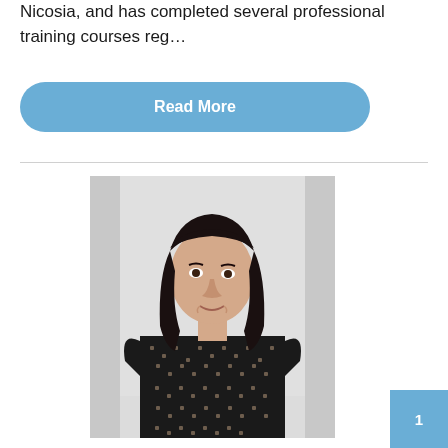Nicosia, and has completed several professional training courses reg…
Read More
[Figure (photo): Portrait photo of a young woman with long dark hair, wearing a black and white patterned top, against a light grey background]
1